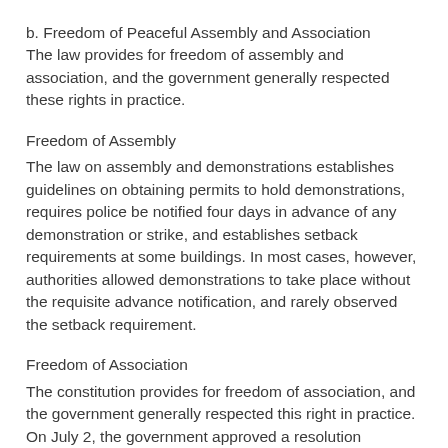b. Freedom of Peaceful Assembly and Association
The law provides for freedom of assembly and association, and the government generally respected these rights in practice.
Freedom of Assembly
The law on assembly and demonstrations establishes guidelines on obtaining permits to hold demonstrations, requires police be notified four days in advance of any demonstration or strike, and establishes setback requirements at some buildings. In most cases, however, authorities allowed demonstrations to take place without the requisite advance notification, and rarely observed the setback requirement.
Freedom of Association
The constitution provides for freedom of association, and the government generally respected this right in practice. On July 2, the government approved a resolution permanently banning three major martial arts groups after investigation linked some members of these groups to criminal acts and